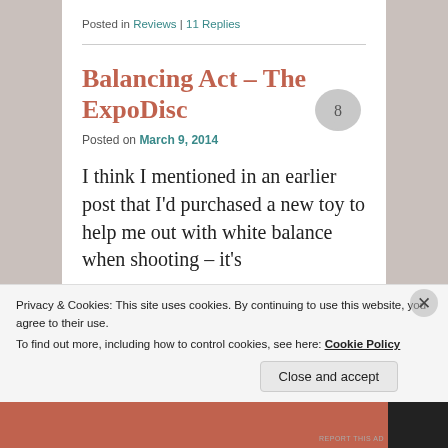Posted in Reviews | 11 Replies
Balancing Act – The ExpoDisc
Posted on March 9, 2014
I think I mentioned in an earlier post that I'd purchased a new toy to help me out with white balance when shooting – it's
Privacy & Cookies: This site uses cookies. By continuing to use this website, you agree to their use.
To find out more, including how to control cookies, see here: Cookie Policy
Close and accept